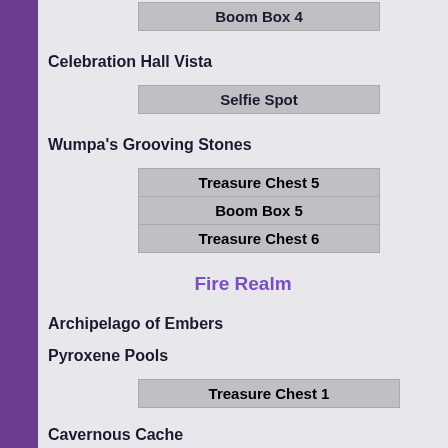Boom Box 4
Celebration Hall Vista
Selfie Spot
Wumpa's Grooving Stones
Treasure Chest 5
Boom Box 5
Treasure Chest 6
Fire Realm
Archipelago of Embers
Pyroxene Pools
Treasure Chest 1
Cavernous Cache
Treasure Chest 2